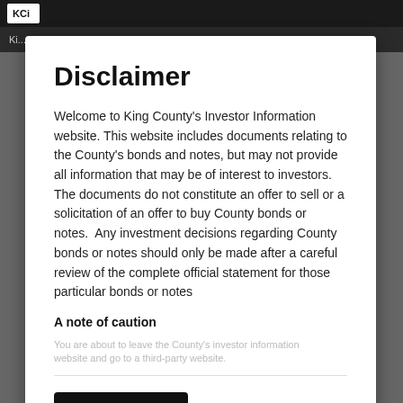Disclaimer
Welcome to King County's Investor Information website. This website includes documents relating to the County's bonds and notes, but may not provide all information that may be of interest to investors. The documents do not constitute an offer to sell or a solicitation of an offer to buy County bonds or notes.  Any investment decisions regarding County bonds or notes should only be made after a careful review of the complete official statement for those particular bonds or notes
A note of caution